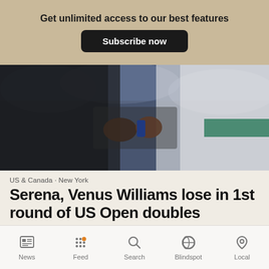Get unlimited access to our best features
Subscribe now
[Figure (photo): Two tennis players performing a fist bump on a tennis court, one wearing black and one wearing white/green, with crowd in the background]
US & Canada · New York
Serena, Venus Williams lose in 1st round of US Open doubles
61% Center coverage: 88 sources
Serena Williams and Venus Williams lost in straight sets
News  Feed  Search  Blindspot  Local